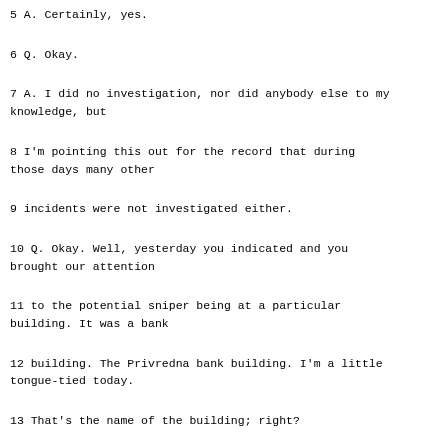5 A. Certainly, yes.
6 Q. Okay.
7 A. I did no investigation, nor did anybody else to my knowledge, but
8 I'm pointing this out for the record that during those days many other
9 incidents were not investigated either.
10 Q. Okay. Well, yesterday you indicated and you brought our attention
11 to the potential sniper being at a particular building. It was a bank
12 building. The Privredna bank building. I'm a little tongue-tied today.
13 That's the name of the building; right?
14 A. Yes, you're right.
15 Q. Okay. And on -- if we go back to yesterday's transcript, on page
16 108, on lines 5 to 6, you said the opposite side tried to hit that sniper
17 to put him out of action. Do you recall saying that?